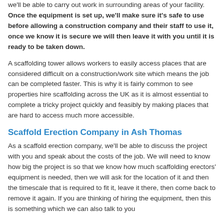we'll be able to carry out work in surrounding areas of your facility. Once the equipment is set up, we'll make sure it's safe to use before allowing a construction company and their staff to use it, once we know it is secure we will then leave it with you until it is ready to be taken down.
A scaffolding tower allows workers to easily access places that are considered difficult on a construction/work site which means the job can be completed faster. This is why it is fairly common to see properties hire scaffolding across the UK as it is almost essential to complete a tricky project quickly and feasibly by making places that are hard to access much more accessible.
Scaffold Erection Company in Ash Thomas
As a scaffold erection company, we'll be able to discuss the project with you and speak about the costs of the job. We will need to know how big the project is so that we know how much scaffolding erectors' equipment is needed, then we will ask for the location of it and then the timescale that is required to fit it, leave it there, then come back to remove it again. If you are thinking of hiring the equipment, then this is something which we can also talk to you